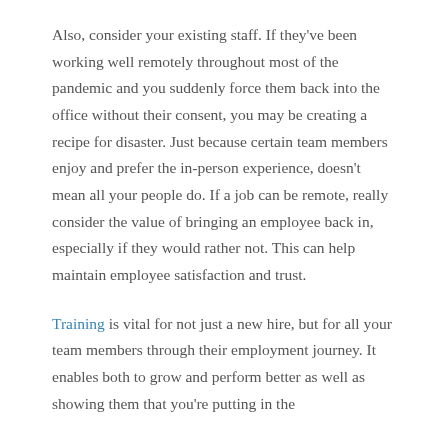Also, consider your existing staff. If they've been working well remotely throughout most of the pandemic and you suddenly force them back into the office without their consent, you may be creating a recipe for disaster. Just because certain team members enjoy and prefer the in-person experience, doesn't mean all your people do. If a job can be remote, really consider the value of bringing an employee back in, especially if they would rather not. This can help maintain employee satisfaction and trust.
Training is vital for not just a new hire, but for all your team members through their employment journey. It enables both to grow and perform better as well as showing them that you're putting in the